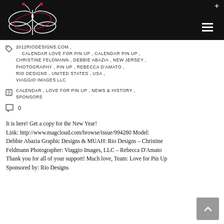[Figure (logo): White dragonfly/butterfly logo with pink/red dots on black background header bar]
2012RIODESIGNS.COM, CALENDAR LOVE FOR PIN UP, CALENDAR PIN UP, CHRISTINE FELDMANN, DEBBIE ABAZIA, NEW JERSEY, PHOTOGRAPHY, PIN UP, REBECCA D'AMATO, RIO DESIGNS, UNITED STATES, USA, VIAGGIO IMAGES LLC
CALENDAR, LOVE FOR PIN UP, NEWS & HISTORY, SPONSORS
0
It is here! Get a copy for the New Year! Link: http://www.magcloud.com/browse/issue/994280 Model: Debbie Abazia Graphic Designs & MUAH: Rio Designs – Christine Feldmann Photographer: Viaggio Images, LLC – Rebecca D'Amato Thank you for all of your support! Much love, Team: Love for Pin Up Sponsored by: Rio Designs